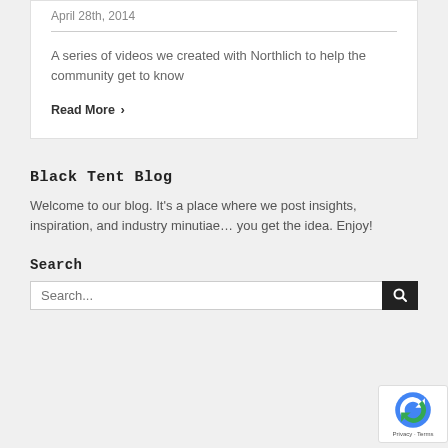April 28th, 2014
A series of videos we created with Northlich to help the community get to know
Read More >
Black Tent Blog
Welcome to our blog. It's a place where we post insights, inspiration, and industry minutiae… you get the idea. Enjoy!
Search